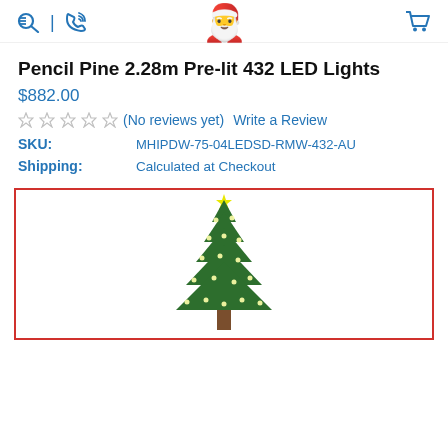Navigation header with search, phone, Santa emoji logo, and cart icons
Pencil Pine 2.28m Pre-lit 432 LED Lights
$882.00
(No reviews yet)  Write a Review
| Field | Value |
| --- | --- |
| SKU: | MHIPDW-75-04LEDSD-RMW-432-AU |
| Shipping: | Calculated at Checkout |
[Figure (photo): Christmas tree - Pencil Pine with LED lights, shown in a red-bordered box]